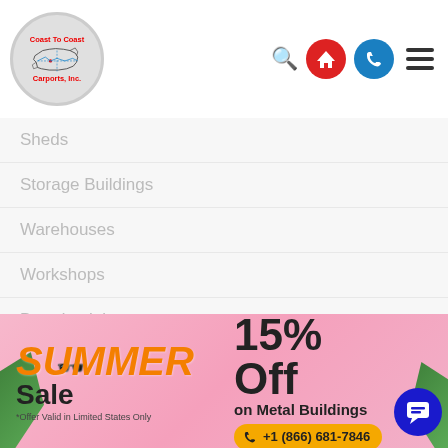[Figure (logo): Coast To Coast Carports, Inc. logo — red text on grey circle with USA map outline]
Sheds
Storage Buildings
Warehouses
Workshops
Barndominiums
Metal Building Prices
Barn Buildings
Regular Style Barns
[Figure (infographic): Summer Sale advertisement banner: SUMMER Sale 15% Off on Metal Buildings, *Offer Valid in Limited States Only, phone +1 (866) 681-7846]